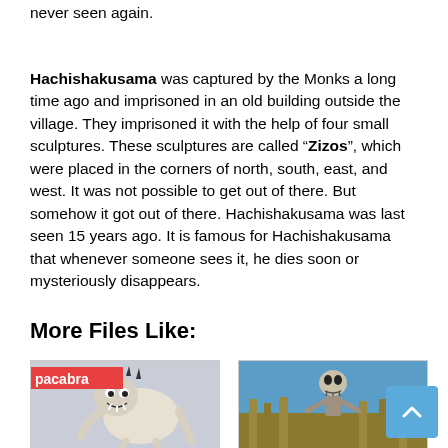never seen again.
Hachishakusama was captured by the Monks a long time ago and imprisoned in an old building outside the village. They imprisoned it with the help of four small sculptures. These sculptures are called “Zizos”, which were placed in the corners of north, south, east, and west. It was not possible to get out of there. But somehow it got out of there. Hachishakusama was last seen 15 years ago. It is famous for Hachishakusama that whenever someone sees it, he dies soon or mysteriously disappears.
More Files Like:
[Figure (photo): Chupacabra illustration with red label showing 'pacabra']
[Figure (photo): Photo of a scarecrow or skeleton figure in a cornfield against blue sky]